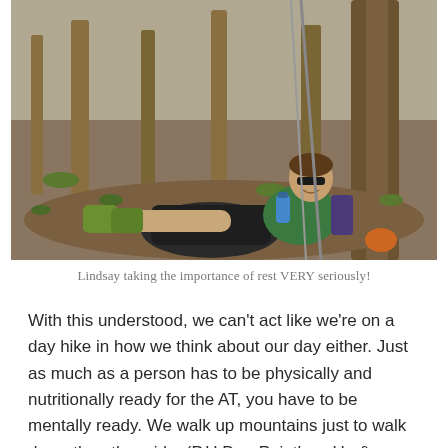[Figure (photo): A woman (Lindsay) resting against a tree in a forested area, wearing a green tank top and sunglasses, with a large backpack beside her and hiking gear. She is smiling and holding a water bottle.]
Lindsay taking the importance of rest VERY seriously!
With this understood, we can't act like we're on a day hike in how we think about our day either. Just as much as a person has to be physically and nutritionally ready for the AT, you have to be mentally ready. We walk up mountains just to walk down the other side, (P.U.D. = Pointless Up & Down) and then repeat with every